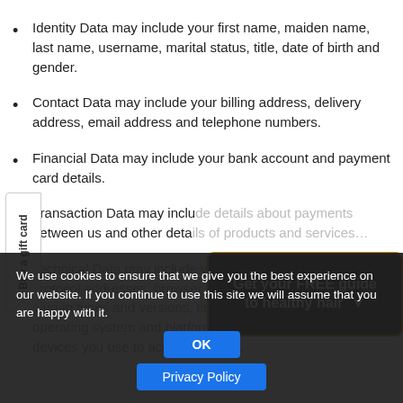Identity Data may include your first name, maiden name, last name, username, marital status, title, date of birth and gender.
Contact Data may include your billing address, delivery address, email address and telephone numbers.
Financial Data may include your bank account and payment card details.
Transaction Data may include details about payments between us and other details of products and services you have purchased from us.
Technical Data may include your login data, internet protocol addresses, browser type and version, browser plug-in types and versions, time zone setting and location, operating system and platform, and other technology on the devices you use to access this site.
[Figure (infographic): Dark popup overlay with text 'Get your FREE guide to healthy hair' with a downward arrow, brown/orange border]
We use cookies to ensure that we give you the best experience on our website. If you continue to use this site we will assume that you are happy with it.